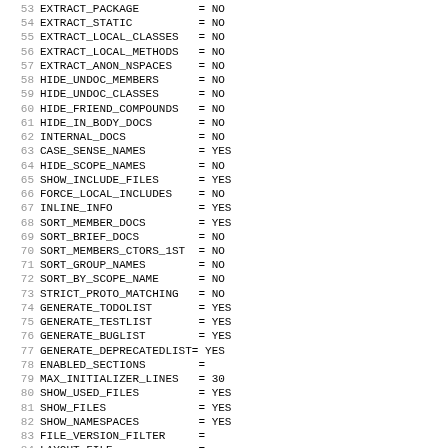53 EXTRACT_PACKAGE = NO
54 EXTRACT_STATIC = NO
55 EXTRACT_LOCAL_CLASSES = NO
56 EXTRACT_LOCAL_METHODS = NO
57 EXTRACT_ANON_NSPACES = NO
58 HIDE_UNDOC_MEMBERS = NO
59 HIDE_UNDOC_CLASSES = NO
60 HIDE_FRIEND_COMPOUNDS = NO
61 HIDE_IN_BODY_DOCS = NO
62 INTERNAL_DOCS = NO
63 CASE_SENSE_NAMES = YES
64 HIDE_SCOPE_NAMES = NO
65 SHOW_INCLUDE_FILES = YES
66 FORCE_LOCAL_INCLUDES = NO
67 INLINE_INFO = YES
68 SORT_MEMBER_DOCS = YES
69 SORT_BRIEF_DOCS = NO
70 SORT_MEMBERS_CTORS_1ST = NO
71 SORT_GROUP_NAMES = NO
72 SORT_BY_SCOPE_NAME = NO
73 STRICT_PROTO_MATCHING = NO
74 GENERATE_TODOLIST = YES
75 GENERATE_TESTLIST = YES
76 GENERATE_BUGLIST = YES
77 GENERATE_DEPRECATEDLIST= YES
78 ENABLED_SECTIONS =
79 MAX_INITIALIZER_LINES = 30
80 SHOW_USED_FILES = YES
81 SHOW_FILES = YES
82 SHOW_NAMESPACES = YES
83 FILE_VERSION_FILTER =
84 LAYOUT_FILE =
85 SITE_DIR_FILES